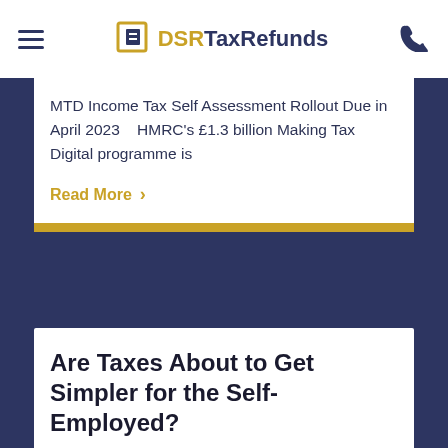DSR TaxRefunds
MTD Income Tax Self Assessment Rollout Due in April 2023    HMRC's £1.3 billion Making Tax Digital programme is
Read More
Are Taxes About to Get Simpler for the Self-Employed?
3 mins